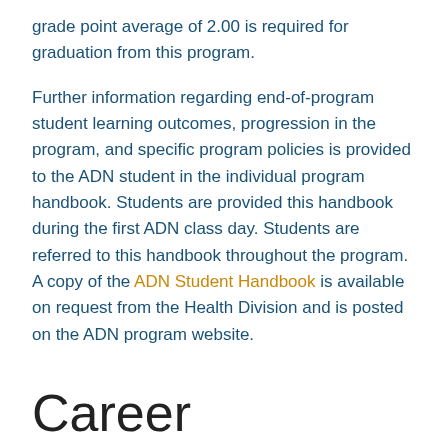grade point average of 2.00 is required for graduation from this program.

Further information regarding end-of-program student learning outcomes, progression in the program, and specific program policies is provided to the ADN student in the individual program handbook. Students are provided this handbook during the first ADN class day. Students are referred to this handbook throughout the program. A copy of the ADN Student Handbook is available on request from the Health Division and is posted on the ADN program website.
Career Opportunities